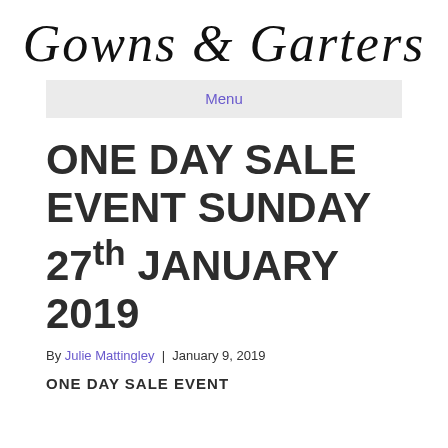[Figure (logo): Gowns & Garters script logo in italic serif font]
Menu
ONE DAY SALE EVENT SUNDAY 27th JANUARY 2019
By Julie Mattingley | January 9, 2019
ONE DAY SALE EVENT